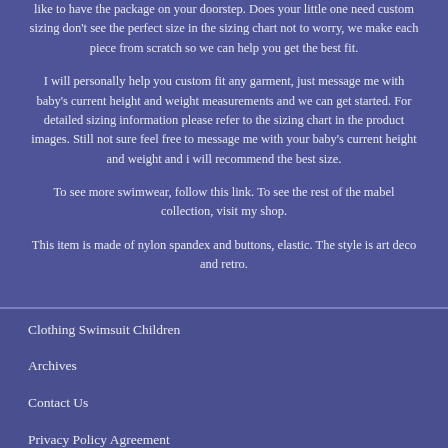like to have the package on your doorstep. Does your little one need custom sizing don't see the perfect size in the sizing chart not to worry, we make each piece from scratch so we can help you get the best fit.
I will personally help you custom fit any garment, just message me with baby's current height and weight measurements and we can get started. For detailed sizing information please refer to the sizing chart in the product images. Still not sure feel free to message me with your baby's current height and weight and i will recommend the best size.
To see more swimwear, follow this link. To see the rest of the mabel collection, visit my shop.
This item is made of nylon spandex and buttons, elastic. The style is art deco and retro.
Clothing Swimsuit Children
Archives
Contact Us
Privacy Policy Agreement